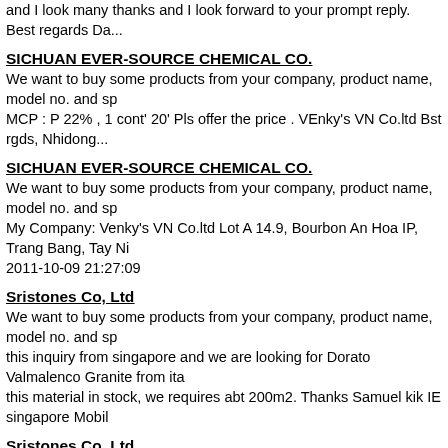and I look many thanks and I look forward to your prompt reply. Best regards Da...
SICHUAN EVER-SOURCE CHEMICAL CO.
We want to buy some products from your company, product name, model no. and sp MCP : P 22% , 1 cont' 20' Pls offer the price . VEnky's VN Co.ltd Bst rgds, Nhidong...
SICHUAN EVER-SOURCE CHEMICAL CO.
We want to buy some products from your company, product name, model no. and sp My Company: Venky's VN Co.ltd Lot A 14.9, Bourbon An Hoa IP, Trang Bang, Tay Ni 2011-10-09 21:27:09
Sristones Co, Ltd
We want to buy some products from your company, product name, model no. and sp this inquiry from singapore and we are looking for Dorato Valmalenco Granite from ita this material in stock, we requires abt 200m2. Thanks Samuel kik IE singapore Mobil
Sristones Co, Ltd
We want to buy some products from your company, product name, model no. and sp this inquiry from singapore and we are looking for Dorato Valmalenco Granite from ita this material in stock, we requires abt 200m2. Thanks Samuel kik IE singapore Mobil
Sumec Machinery &amp; Electric Co., Ltd.
Hi, I have recently purchased one of your products, a FP16-12 gate opener. Unfortu result of inadvertently jamming up the mechanism. I now need a replacement motor. is OK. Can you please provide me with a price of a replacement motor to Australia. T